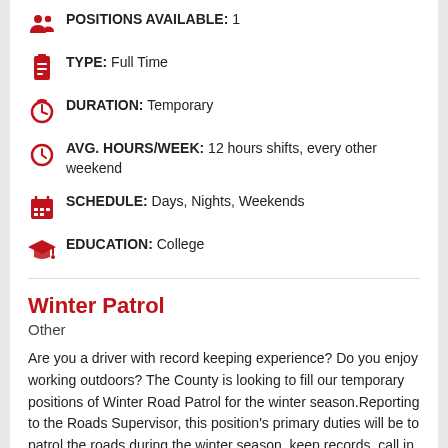POSITIONS AVAILABLE: 1
TYPE: Full Time
DURATION: Temporary
AVG. HOURS/WEEK: 12 hours shifts, every other weekend
SCHEDULE: Days, Nights, Weekends
EDUCATION: College
Winter Patrol
Other
Are you a driver with record keeping experience? Do you enjoy working outdoors? The County is looking to fill our temporary positions of Winter Road Patrol for the winter season.Reporting to the Roads Supervisor, this position's primary duties will be to patrol the roads during the winter season, keep records, call in winter control response staff, and provide back-up for winter